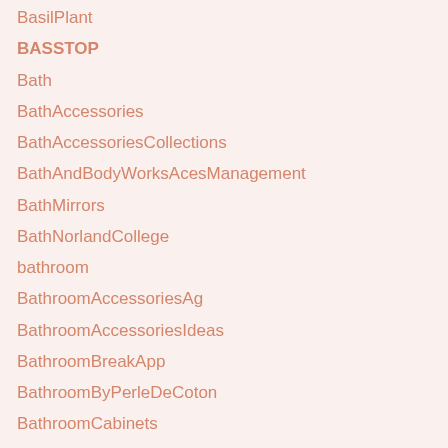BasilPlant
BASSTOP
Bath
BathAccessories
BathAccessoriesCollections
BathAndBodyWorksAcesManagement
BathMirrors
BathNorlandCollege
bathroom
BathroomAccessoriesAg
BathroomAccessoriesIdeas
BathroomBreakApp
BathroomByPerleDeCoton
BathroomCabinets
BathroomDesign